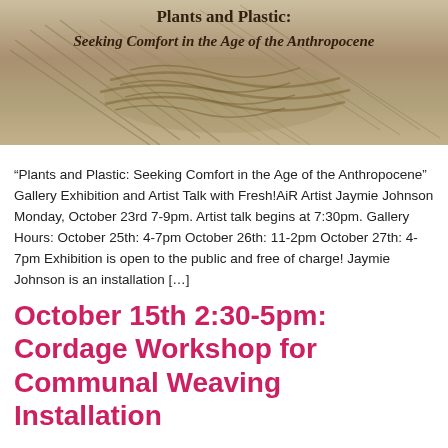[Figure (photo): Banner image with rope/grass/cordage materials on a beige background. Text overlay reads 'Plants and Plastic: Seeking Comfort in the Age of the Anthropocene' in bold serif font.]
“Plants and Plastic: Seeking Comfort in the Age of the Anthropocene” Gallery Exhibition and Artist Talk with Fresh!AiR Artist Jaymie Johnson Monday, October 23rd 7-9pm. Artist talk begins at 7:30pm. Gallery Hours: October 25th: 4-7pm October 26th: 11-2pm October 27th: 4-7pm Exhibition is open to the public and free of charge! Jaymie Johnson is an installation [...]
October 15th 2:30-5pm: Cordage Workshop for Communal Weaving Installation